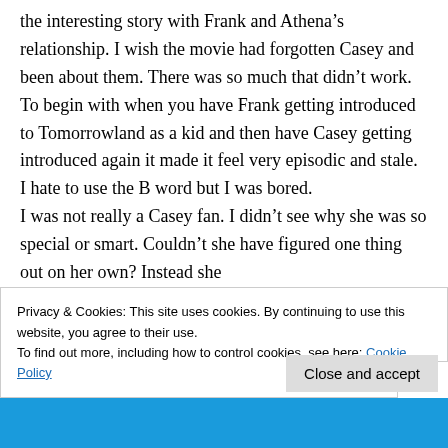the interesting story with Frank and Athena’s relationship. I wish the movie had forgotten Casey and been about them. There was so much that didn’t work. To begin with when you have Frank getting introduced to Tomorrowland as a kid and then have Casey getting introduced again it made it feel very episodic and stale. I hate to use the B word but I was bored.
I was not really a Casey fan. I didn’t see why she was so special or smart. Couldn’t she have figured one thing out on her own? Instead she
Privacy & Cookies: This site uses cookies. By continuing to use this website, you agree to their use.
To find out more, including how to control cookies, see here: Cookie Policy
Close and accept